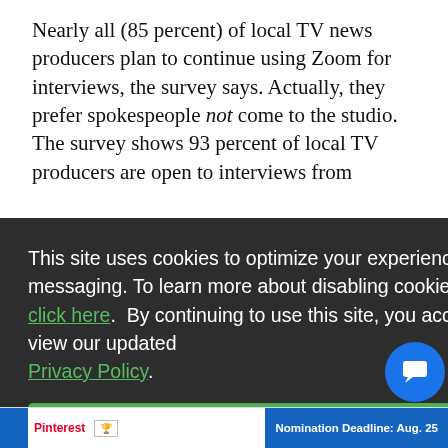Nearly all (85 percent) of local TV news producers plan to continue using Zoom for interviews, the survey says. Actually, they prefer spokespeople not come to the studio. The survey shows 93 percent of local TV producers are open to interviews from
s to M) by
This site uses cookies to optimize your experience including more relevant content and messaging. To learn more about disabling cookies in your browser, click here. By continuing to use this site, you accept our use of cookies. For more information, view our updated Privacy Policy.
I Consent
Pinterest   Nomination Deadline: Aug. 25